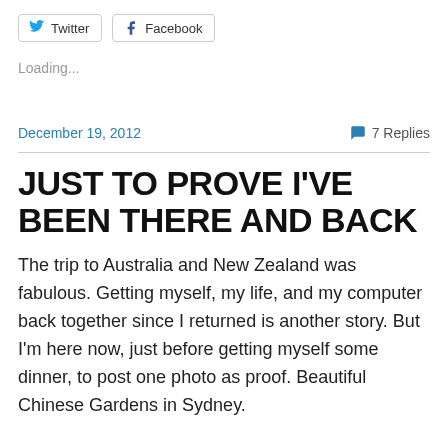[Figure (other): Twitter and Facebook social sharing buttons]
Loading...
December 19, 2012   💬 7 Replies
JUST TO PROVE I'VE BEEN THERE AND BACK
The trip to Australia and New Zealand was fabulous. Getting myself, my life, and my computer back together since I returned is another story. But I'm here now, just before getting myself some dinner, to post one photo as proof. Beautiful Chinese Gardens in Sydney.